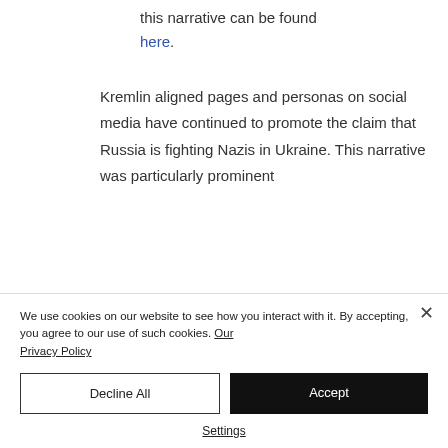this narrative can be found here.
Kremlin aligned pages and personas on social media have continued to promote the claim that Russia is fighting Nazis in Ukraine. This narrative was particularly prominent
We use cookies on our website to see how you interact with it. By accepting, you agree to our use of such cookies. Our Privacy Policy
Decline All
Accept
Settings